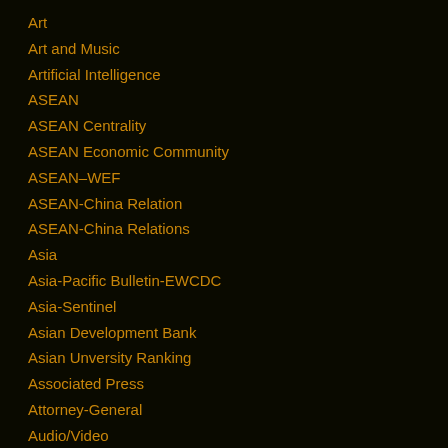Art
Art and Music
Artificial Intelligence
ASEAN
ASEAN Centrality
ASEAN Economic Community
ASEAN–WEF
ASEAN-China Relation
ASEAN-China Relations
Asia
Asia-Pacific Bulletin-EWCDC
Asia-Sentinel
Asian Development Bank
Asian Unversity Ranking
Associated Press
Attorney-General
Audio/Video
Auditor-General
Aung San Suu Kyi–Nobel Laureate
Australia
Aun Pand